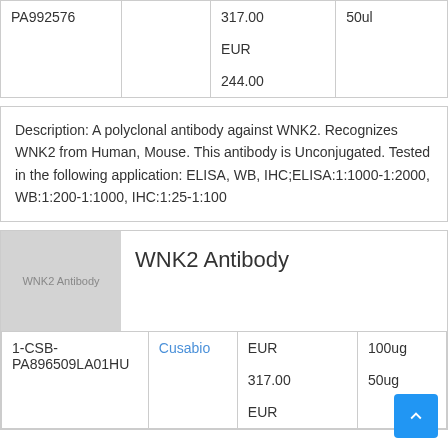|  |  | Price | Size |
| --- | --- | --- | --- |
| PA992576 |  | 317.00
EUR
244.00 | 50ul |
Description: A polyclonal antibody against WNK2. Recognizes WNK2 from Human, Mouse. This antibody is Unconjugated. Tested in the following application: ELISA, WB, IHC;ELISA:1:1000-1:2000, WB:1:200-1:1000, IHC:1:25-1:100
[Figure (other): Product image placeholder showing 'WNK2 Antibody' text on grey background]
WNK2 Antibody
|  | Supplier | Price | Size |
| --- | --- | --- | --- |
| 1-CSB-PA896509LA01HU | Cusabio | EUR 317.00
EUR | 100ug
50ug |